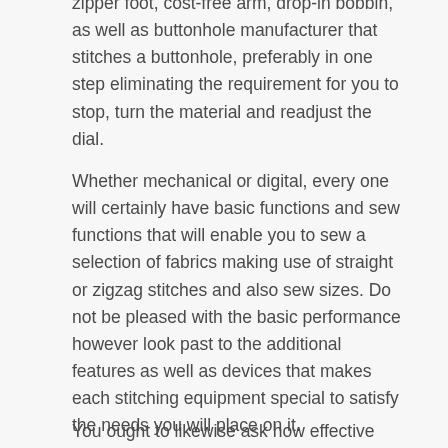zipper foot, cost-free arm, drop-in bobbin, as well as buttonhole manufacturer that stitches a buttonhole, preferably in one step eliminating the requirement for you to stop, turn the material and readjust the dial.
Whether mechanical or digital, every one will certainly have basic functions and sew functions that will enable you to sew a selection of fabrics making use of straight or zigzag stitches and also sew sizes. Do not be pleased with the basic performance however look past to the additional features as well as devices that makes each stitching equipment special to satisfy the needs you will place on it.
You ought to likewise ask how effective